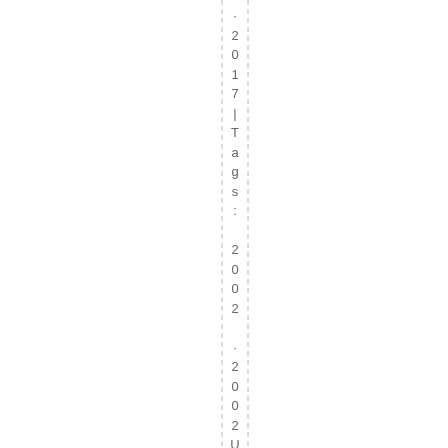· 2017 | Tags: 2002 · 2002 Upper
· 2017 | Tags: 2002 · 2002 Upper r